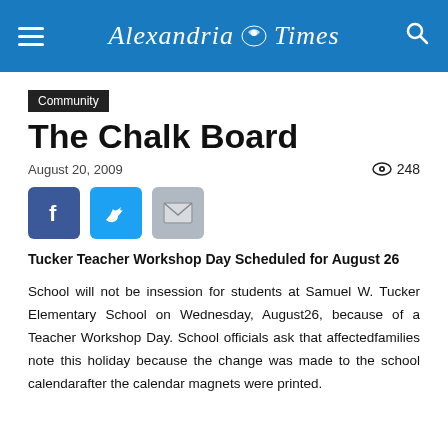Alexandria Times
Community
The Chalk Board
August 20, 2009   248
[Figure (other): Social share buttons: Facebook, Twitter, Email]
Tucker Teacher Workshop Day Scheduled for August 26
School will not be insession for students at Samuel W. Tucker Elementary School on Wednesday, August26, because of a Teacher Workshop Day. School officials ask that affectedfamilies note this holiday because the change was made to the school calendarafter the calendar magnets were printed.